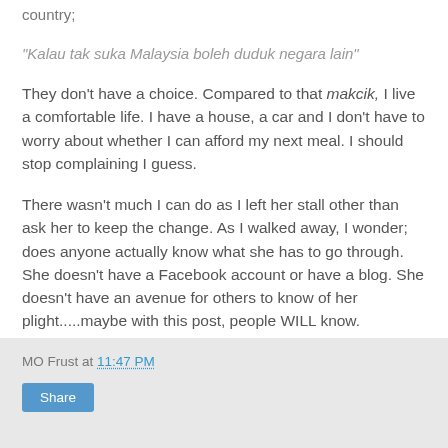country;
"Kalau tak suka Malaysia boleh duduk negara lain"
They don't have a choice. Compared to that makcik, I live a comfortable life. I have a house, a car and I don't have to worry about whether I can afford my next meal. I should stop complaining I guess.
There wasn't much I can do as I left her stall other than ask her to keep the change. As I walked away, I wonder; does anyone actually know what she has to go through. She doesn't have a Facebook account or have a blog. She doesn't have an avenue for others to know of her plight.....maybe with this post, people WILL know.
MOfrust
MO Frust at 11:47 PM
Share